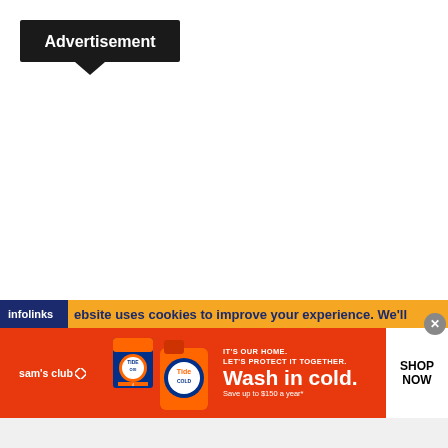[Figure (other): Advertisement label callout box with dark background and speech bubble pointer, text reads 'Advertisement']
[Figure (other): Infolinks cookie consent notification bar in orange with dark blue infolinks logo, text: 'ebsite uses cookies to improve your experience. We'll']
[Figure (other): Sam's Club advertisement banner in orange/red. Shows Sam's Club logo, Tide OXI product image, text: IT'S OUR HOME. LET'S PROTECT IT TOGETHER. Wash in cold. Save up to $150 a year*. SHOP NOW button on right.]